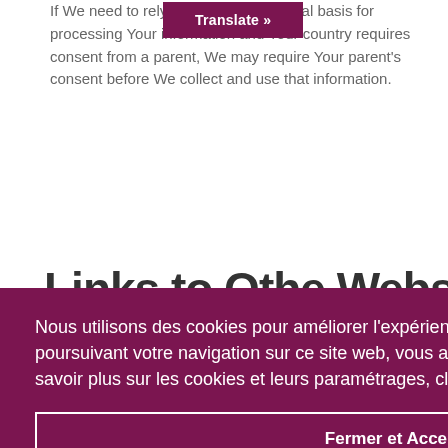If We need to rely on consent as a legal basis for processing Your information and Your country requires consent from a parent, We may require Your parent's consent before We collect and use that information.
[Figure (screenshot): Translate button overlay with dark magenta/purple background showing 'Translate »' text in white bold]
Links to Other Websites
Nous utilisons des cookies pour améliorer l'expérience de l'utilisateur sur notre site Web. En poursuivant votre navigation sur ce site web, vous acceptez notre utilisation de cookies. Pour en savoir plus sur les cookies et leurs paramétrages, cliquer sur le lien suivant. En savoir plus
Fermer et Accepter
Policy